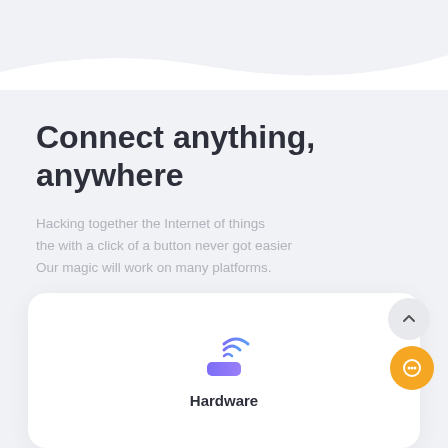Connect anything, anywhere
Hacking together the Internet of things the with a click of a button never got easier Our magic will work on many platforms.
[Figure (illustration): A WiFi/router hardware icon with gradient purple-blue rectangular base and WiFi signal arcs above it in blue-purple gradient]
Hardware